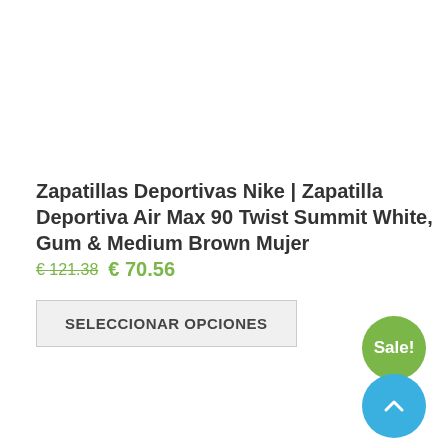Zapatillas Deportivas Nike | Zapatilla Deportiva Air Max 90 Twist Summit White, Gum & Medium Brown Mujer
€ 121.38  € 70.56
SELECCIONAR OPCIONES
Sale!